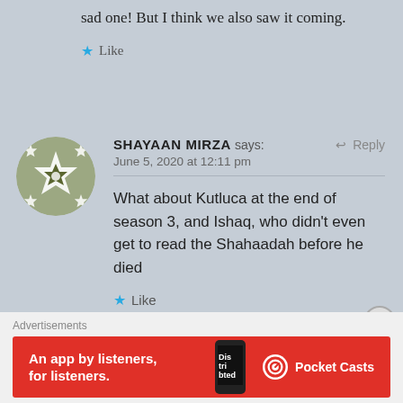sad one! But I think we also saw it coming.
Like
SHAYAAN MIRZA says: June 5, 2020 at 12:11 pm
What about Kutluca at the end of season 3, and Ishaq, who didn't even get to read the Shahaadah before he died
Like
Advertisements
[Figure (screenshot): Red Pocket Casts advertisement banner reading 'An app by listeners, for listeners.' with phone graphic and Pocket Casts logo]